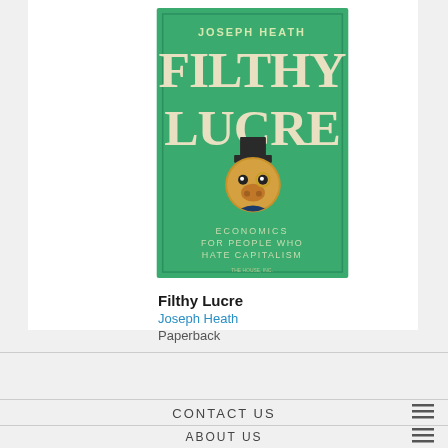[Figure (illustration): Book cover of 'Filthy Lucre' by Joseph Heath. Green background with large cream/white title text. Features an illustrated pig wearing a top hat and monocle. Subtitle reads 'Economics for People Who Hate Capitalism'.]
Filthy Lucre
Joseph Heath
Paperback
CONTACT US
ABOUT US